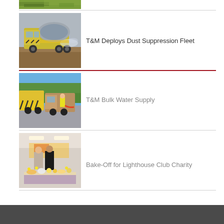[Figure (photo): Partial top image of green foliage or grass, cropped at top of page]
[Figure (photo): Yellow and silver industrial dust suppression vehicle/truck on a construction site with dirt ground]
T&M Deploys Dust Suppression Fleet
[Figure (photo): Yellow chevron-marked heavy vehicles and a worker in hi-vis vest on a road, bulk water supply operation]
T&M Bulk Water Supply
[Figure (photo): Indoor scene with two people standing near a table covered in baked goods and yellow decorations, charity bake-off event]
Bake-Off for Lighthouse Club Charity